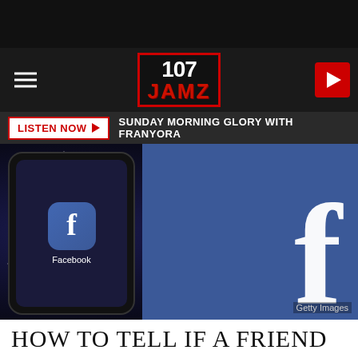[Figure (screenshot): 107 JAMZ radio station website screenshot. Top black bar, header with hamburger menu on left, 107 JAMZ logo in center (red bordered box), red play button on right. Listen Now button with red border and play arrow, followed by text 'SUNDAY MORNING GLORY WITH FRANYORA' on dark bar. Large photo of Facebook app icon on a smartphone screen with larger Facebook blue tile showing the 'f' logo. Getty Images watermark at bottom right of photo.]
HOW TO TELL IF A FRIEND